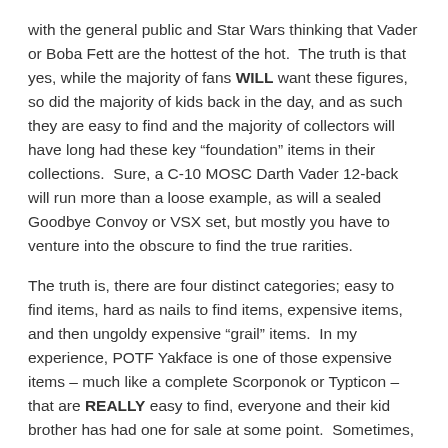with the general public and Star Wars thinking that Vader or Boba Fett are the hottest of the hot.  The truth is that yes, while the majority of fans WILL want these figures, so did the majority of kids back in the day, and as such they are easy to find and the majority of collectors will have long had these key “foundation” items in their collections.  Sure, a C-10 MOSC Darth Vader 12-back will run more than a loose example, as will a sealed Goodbye Convoy or VSX set, but mostly you have to venture into the obscure to find the true rarities.
The truth is, there are four distinct categories; easy to find items, hard as nails to find items, expensive items, and then ungoldy expensive “grail” items.  In my experience, POTF Yakface is one of those expensive items – much like a complete Scorponok or Typticon – that are REALLY easy to find, everyone and their kid brother has had one for sale at some point.  Sometimes, much less expensive items are much harder to find at shows, stuff like the Turbomasters or Predator Jets, which don’t sell for much in UK / Europe, can be a real chore to track down.  The comic-book world is